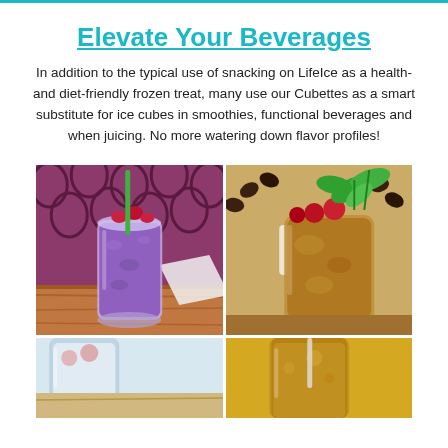Elevate Your Beverages
In addition to the typical use of snacking on LifeIce as a health- and diet-friendly frozen treat, many use our Cubettes as a smart substitute for ice cubes in smoothies, functional beverages and when juicing. No more watering down flavor profiles!
[Figure (photo): Purple blended smoothie in a tall glass with red fruit on top, green straw, on a wooden table with decorative background]
[Figure (photo): Iced brown drink in a glass with red fruit pieces and fresh mint leaves on top, coffee beans visible in background]
[Figure (photo): Partial view of a light-colored beverage in a glass, bottom left corner]
[Figure (photo): Partial view of a yellow/amber beverage in a glass, bottom right corner]